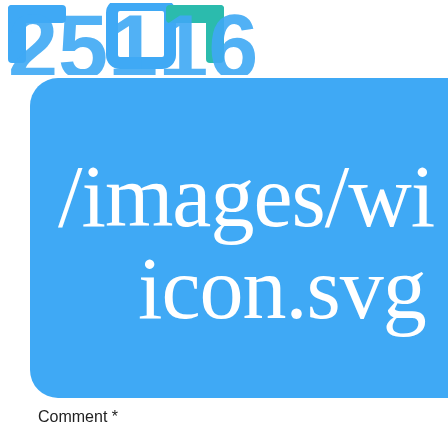[Figure (logo): Partial logo visible at top — blue and teal square bracket / icon shapes on white background, large text partially cropped]
[Figure (screenshot): Large blue rounded rectangle containing white serif text showing a file path: /images/wi... on first line, icon.svg on second line, text is cropped on the right side]
Comment *
[Figure (screenshot): Comment input text box (empty), partially visible. Purple scroll-to-top button with double chevron up arrow on the right side.]